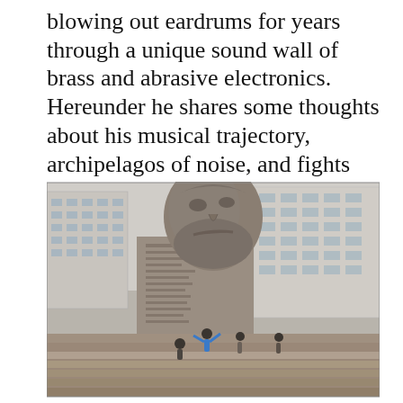blowing out eardrums for years through a unique sound wall of brass and abrasive electronics. Hereunder he shares some thoughts about his musical trajectory, archipelagos of noise, and fights that never cease to be fought.
[Figure (photo): A large bronze sculptural bust of Karl Marx mounted on a stone plinth in a public square, with Soviet-era text inscribed on the plinth. Several people stand at the base of the monument. Modern multi-story buildings are visible in the background.]